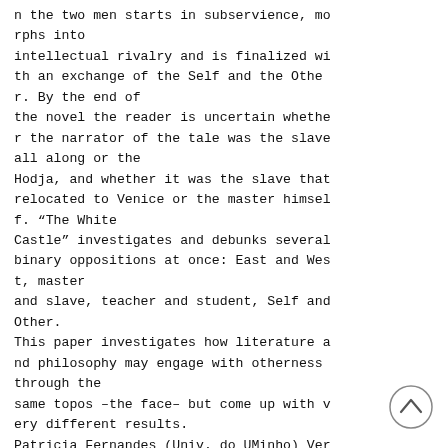n the two men starts in subservience, morphs into intellectual rivalry and is finalized with an exchange of the Self and the Other. By the end of the novel the reader is uncertain whether the narrator of the tale was the slave all along or the Hodja, and whether it was the slave that relocated to Venice or the master himself. "The White Castle" investigates and debunks several binary oppositions at once: East and West, master and slave, teacher and student, Self and Other. This paper investigates how literature and philosophy may engage with otherness through the same topos –the face– but come up with very different results. Patricia Fernandes (Univ. do UMinho) Ver outros seres humanos como sendo 'um de nós' e não como (des)t e redesorição portuou...